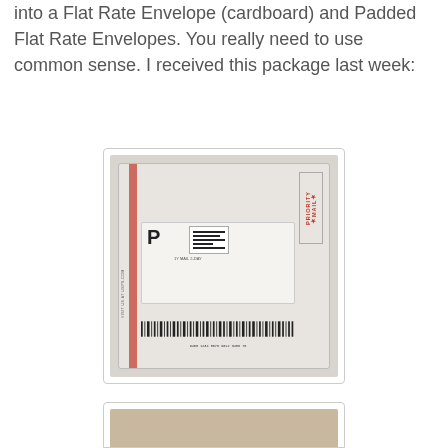into a Flat Rate Envelope (cardboard) and Padded Flat Rate Envelopes. You really need to use common sense. I received this package last week:
[Figure (photo): A damaged USPS Priority Mail flat rate padded envelope that has been overstuffed and deformed, showing shipping label with barcode and 'PRIORITY MAIL' text in red on the right side.]
[Figure (photo): Partial view of another package or photo, cropped at the bottom of the page.]